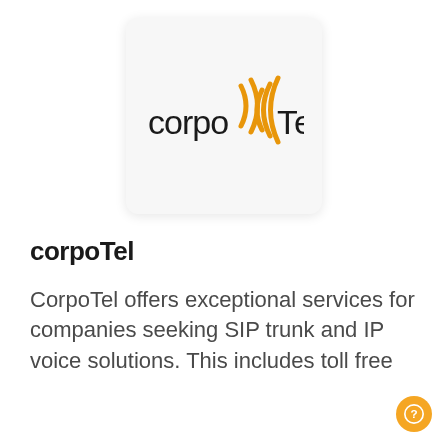[Figure (logo): corpoTel logo: the word 'corpo' in dark text followed by orange wave/parenthesis symbols and 'Tel' in dark text, on a light gray rounded square background]
corpoTel
CorpoTel offers exceptional services for companies seeking SIP trunk and IP voice solutions. This includes toll free